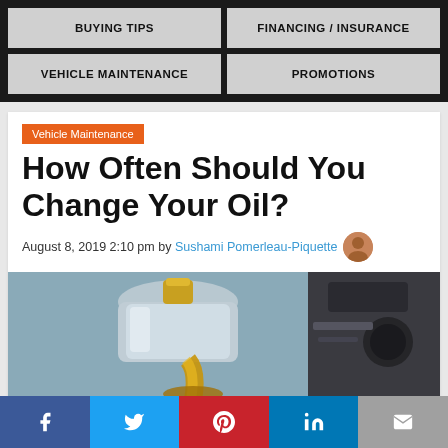BUYING TIPS | FINANCING / INSURANCE | VEHICLE MAINTENANCE | PROMOTIONS
Vehicle Maintenance
How Often Should You Change Your Oil?
August 8, 2019 2:10 pm by Sushami Pomerleau-Piquette
[Figure (photo): Oil being poured from a metallic container into a car engine, golden amber oil visible]